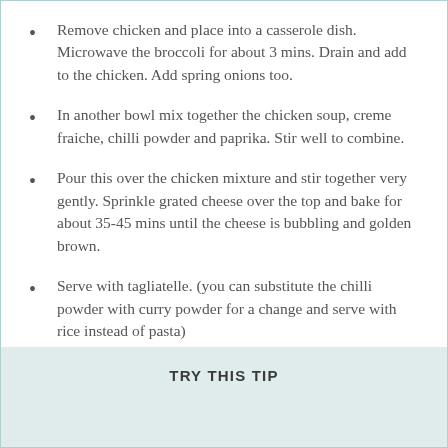Remove chicken and place into a casserole dish. Microwave the broccoli for about 3 mins. Drain and add to the chicken. Add spring onions too.
In another bowl mix together the chicken soup, creme fraiche, chilli powder and paprika. Stir well to combine.
Pour this over the chicken mixture and stir together very gently. Sprinkle grated cheese over the top and bake for about 35-45 mins until the cheese is bubbling and golden brown.
Serve with tagliatelle. (you can substitute the chilli powder with curry powder for a change and serve with rice instead of pasta)
TRY THIS TIP